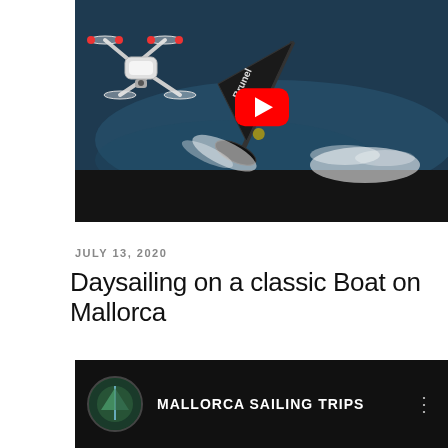[Figure (screenshot): YouTube video thumbnail showing a drone (white quadcopter) on the left side and a racing sailboat (Brunel) heeling sharply on the right, with ocean waves and white foam visible. A red YouTube play button is centered over the image. A black bar appears at the bottom of the thumbnail.]
JULY 13, 2020
Daysailing on a classic Boat on Mallorca
[Figure (screenshot): Bottom portion of a YouTube channel card showing a circular channel avatar with green/dark tones on the left, channel name 'MALLORCA SAILING TRIPS' in white bold text, and a three-dot menu icon on the right. Dark background.]